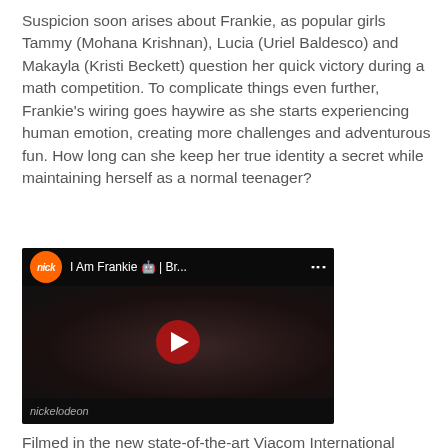Suspicion soon arises about Frankie, as popular girls Tammy (Mohana Krishnan), Lucia (Uriel Baldesco) and Makayla (Kristi Beckett) question her quick victory during a math competition. To complicate things even further, Frankie's wiring goes haywire as she starts experiencing human emotion, creating more challenges and adventurous fun. How long can she keep her true identity a secret while maintaining herself as a normal teenager?
[Figure (screenshot): YouTube video thumbnail showing a Nickelodeon video titled 'I Am Frankie 🤖 | Br...' with the Nick logo (orange circle) on the left, a dark-toned still of a girl's face, a red play button in the center, and 'nickelodeon' watermark at the bottom.]
Filmed in the new state-of-the-art Viacom International